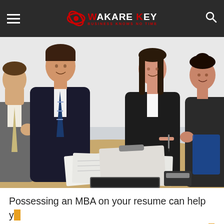Wakare Key — Business Knows No Time
[Figure (photo): Four business professionals (two men, two women) sitting around a table in a meeting, smiling and reviewing documents. One woman is pointing at the papers with a pen.]
Possessing an MBA on your resume can help you get in advance in enterprise. But not every person has the time and funds to go to university. An e-